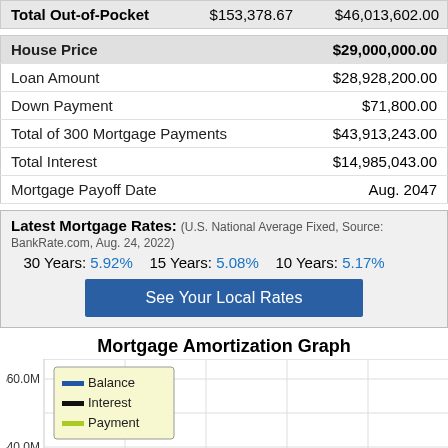|  |  |  |
| --- | --- | --- |
| Total Out-of-Pocket | $153,378.67 | $46,013,602.00 |
|  |  |
| --- | --- |
| House Price | $29,000,000.00 |
| Loan Amount | $28,928,200.00 |
| Down Payment | $71,800.00 |
| Total of 300 Mortgage Payments | $43,913,243.00 |
| Total Interest | $14,985,043.00 |
| Mortgage Payoff Date | Aug. 2047 |
Latest Mortgage Rates: (U.S. National Average Fixed, Source: BankRate.com, Aug. 24, 2022)
30 Years: 5.92%   15 Years: 5.08%   10 Years: 5.17%
See Your Local Rates
Mortgage Amortization Graph
[Figure (line-chart): Line chart showing Balance, Interest, and Payment over time. Y-axis shows $60.0M and $40.0M visible. Legend shows Balance (blue line), Interest (dark line), Payment (yellow-green line). Chart is partially visible (cut off at bottom).]